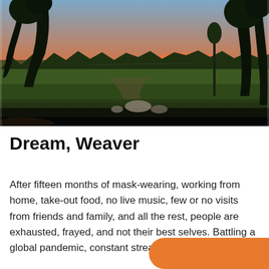[Figure (photo): Outdoor sunset landscape photo showing green fields, trees silhouetted against an orange and pink sky, with a dirt path and scattered rocks in the foreground.]
Dream, Weaver
After fifteen months of mask-wearing, working from home, take-out food, no live music, few or no visits from friends and family, and all the rest, people are exhausted, frayed, and not their best selves. Battling a global pandemic, constant streams o...